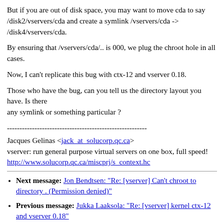But if you are out of disk space, you may want to move cda to say /disk2/vservers/cda and create a symlink /vservers/cda -> /disk4/vservers/cda.
By ensuring that /vservers/cda/.. is 000, we plug the chroot hole in all cases.
Now, I can't replicate this bug with ctx-12 and vserver 0.18.
Those who have the bug, can you tell us the directory layout you have. Is there any symlink or something particular ?
--------------------------------------------------------
Jacques Gelinas <jack_at_solucorp.qc.ca>
vserver: run general purpose virtual servers on one box, full speed!
http://www.solucorp.qc.ca/miscprj/s_context.hc
Next message: Jon Bendtsen: "Re: [vserver] Can't chroot to directory . (Permission denied)"
Previous message: Jukka Laaksola: "Re: [vserver] kernel ctx-12 and vserver 0.18"
Maybe in reply to: Herbert Poetzl: "[vserver] Can't chroot to directory . (Permission denied)"